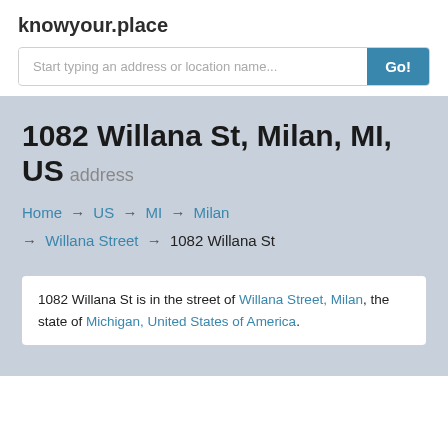knowyour.place
Start typing an address or location name...
1082 Willana St, Milan, MI, US address
Home → US → MI → Milan → Willana Street → 1082 Willana St
1082 Willana St is in the street of Willana Street, Milan, the state of Michigan, United States of America.